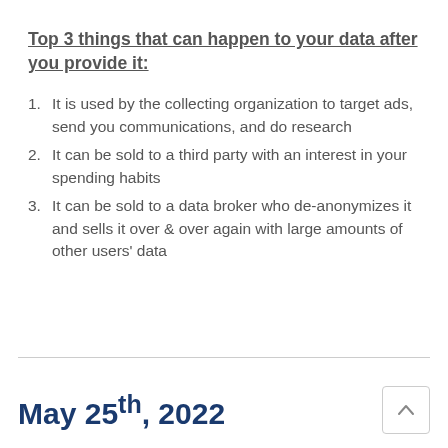Top 3 things that can happen to your data after you provide it:
It is used by the collecting organization to target ads, send you communications, and do research
It can be sold to a third party with an interest in your spending habits
It can be sold to a data broker who de-anonymizes it and sells it over & over again with large amounts of other users' data
May 25th, 2022